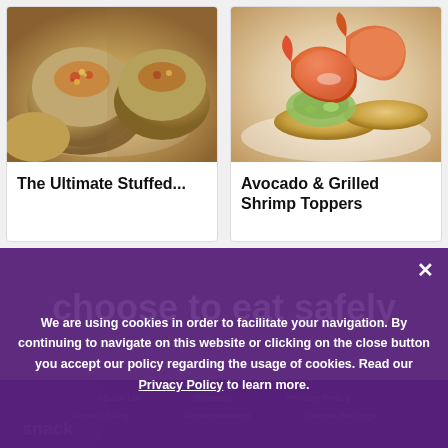[Figure (photo): Stuffed mushrooms topped with cheese and red pepper filling on a plate]
The Ultimate Stuffed...
[Figure (photo): Grilled shrimp on crackers with avocado topping]
Avocado & Grilled Shrimp Toppers
We are using cookies in order to facilitate your navigation. By continuing to navigate on this website or clicking on the close button you accept our policy regarding the usage of cookies. Read our Privacy Policy to learn more.